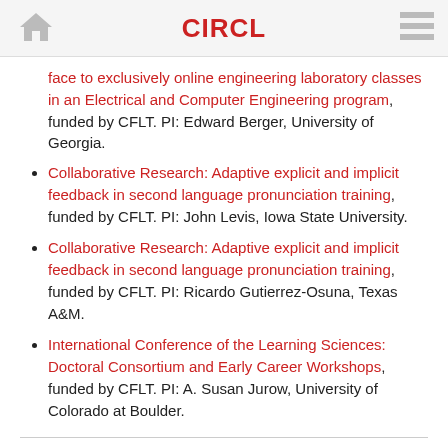CIRCL
face to exclusively online engineering laboratory classes in an Electrical and Computer Engineering program, funded by CFLT. PI: Edward Berger, University of Georgia.
Collaborative Research: Adaptive explicit and implicit feedback in second language pronunciation training, funded by CFLT. PI: John Levis, Iowa State University.
Collaborative Research: Adaptive explicit and implicit feedback in second language pronunciation training, funded by CFLT. PI: Ricardo Gutierrez-Osuna, Texas A&M.
International Conference of the Learning Sciences: Doctoral Consortium and Early Career Workshops, funded by CFLT. PI: A. Susan Jurow, University of Colorado at Boulder.
Publications